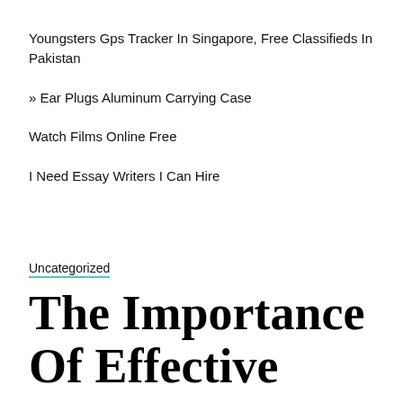Youngsters Gps Tracker In Singapore, Free Classifieds In Pakistan
» Ear Plugs Aluminum Carrying Case
Watch Films Online Free
I Need Essay Writers I Can Hire
Uncategorized
The Importance Of Effective